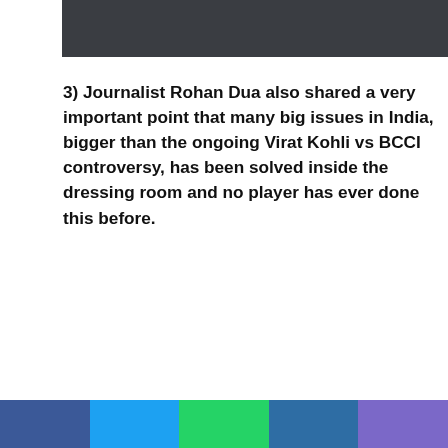[Figure (photo): Dark gray image block at the top of the page]
3) Journalist Rohan Dua also shared a very important point that many big issues in India, bigger than the ongoing Virat Kohli vs BCCI controversy, has been solved inside the dressing room and no player has ever done this before.
Poise, humility, mental strength, grace, commitment to India over personal gains & commercial interests is all what separates good leaders from bad
Social share bar: Facebook, Twitter, WhatsApp, Telegram, Other